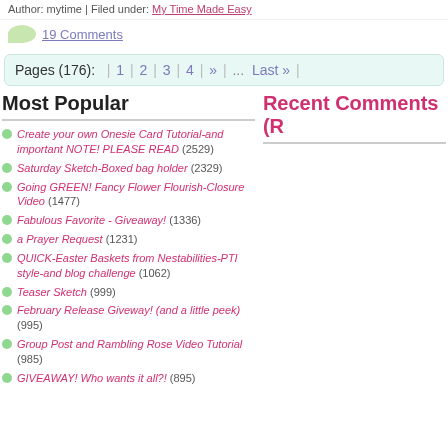Author: mytime | Filed under: My Time Made Easy
19 Comments
Pages (176):  | 1 | 2 | 3 | 4 | » | ... Last » |
Most Popular
Recent Comments (R
Create your own Onesie Card Tutorial-and important NOTE! PLEASE READ (2529)
Saturday Sketch-Boxed bag holder (2329)
Going GREEN! Fancy Flower Flourish-Closure Video (1477)
Fabulous Favorite - Giveaway! (1336)
a Prayer Request (1231)
QUICK-Easter Baskets from Nestabilities-PTI style-and blog challenge (1062)
Teaser Sketch (999)
February Release Giveway! (and a little peek) (995)
Group Post and Rambling Rose Video Tutorial (985)
GIVEAWAY! Who wants it all?! (895)